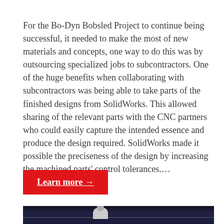For the Bo-Dyn Bobsled Project to continue being successful, it needed to make the most of new materials and concepts, one way to do this was by outsourcing specialized jobs to subcontractors. One of the huge benefits when collaborating with subcontractors was being able to take parts of the finished designs from SolidWorks. This allowed sharing of the relevant parts with the CNC partners who could easily capture the intended essence and produce the design required. SolidWorks made it possible the preciseness of the design by increasing the machined parts' control tolerances.…
Learn more →
[Figure (photo): Dark background photo showing dome security cameras mounted on a ceiling structure, with what appears to be bobsled helmets or similar rounded objects visible at bottom]